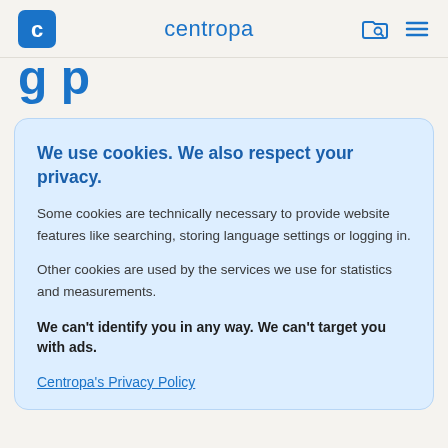centropa
g p
We use cookies. We also respect your privacy.
Some cookies are technically necessary to provide website features like searching, storing language settings or logging in.
Other cookies are used by the services we use for statistics and measurements.
We can't identify you in any way. We can't target you with ads.
Centropa's Privacy Policy